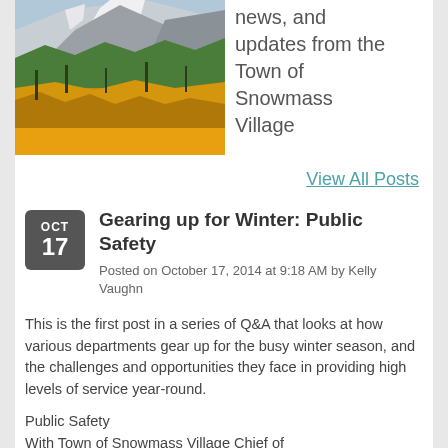[Figure (photo): Mountain landscape with snow-capped peaks and golden aspen trees in autumn]
news, and updates from the Town of Snowmass Village
View All Posts
Gearing up for Winter: Public Safety
Posted on October 17, 2014 at 9:18 AM by Kelly Vaughn
This is the first post in a series of Q&A that looks at how various departments gear up for the busy winter season, and the challenges and opportunities they face in providing high levels of service year-round.
Public Safety
With Town of Snowmass Village Chief of